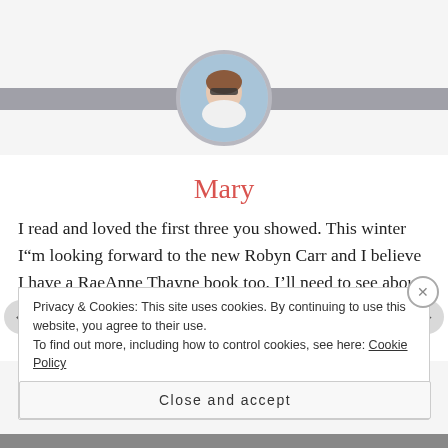[Figure (photo): Circular avatar photo of a woman wearing sunglasses, with a gray horizontal band behind it]
Mary
I read and loved the first three you showed. This winter I"m looking forward to the new Robyn Carr and I believe I have a RaeAnne Thayne book too. I'll need to see about fitting some domestic suspense in between 🙂
Feel better, T!
Privacy & Cookies: This site uses cookies. By continuing to use this website, you agree to their use.
To find out more, including how to control cookies, see here: Cookie Policy
Close and accept